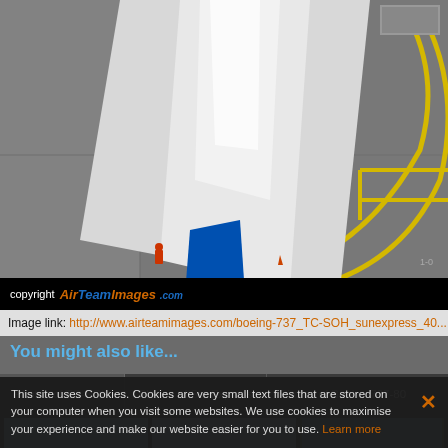[Figure (photo): Aerial view of airplane wing over airport tarmac with yellow taxiway lines, ground crew visible]
copyright AirTeamImages .com
Image link: http://www.airteamimages.com/boeing-737_TC-SOH_sunexpress_40...
You might also like...
Photos of TC-SOH
Photos of SunExpress
Photos of Boeing 737-80
[Figure (photo): SunExpress Boeing 737 in flight against blue sky]
[Figure (photo): SunExpress Boeing 737 on approach against blue sky]
[Figure (photo): SunExpress Boeing 737 on ground with green hills in background]
This site uses Cookies. Cookies are very small text files that are stored on your computer when you visit some websites. We use cookies to maximise your experience and make our website easier for you to use. Learn more